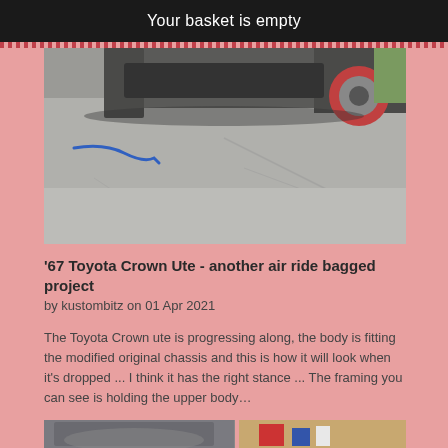Your basket is empty
[Figure (photo): Underside/rear view of a lowered car on a concrete driveway with a blue hose visible on the ground, red wheel visible at top right]
'67 Toyota Crown Ute - another air ride bagged project
by kustombitz on 01 Apr 2021
The Toyota Crown ute is progressing along, the body is fitting the modified original chassis and this is how it will look when it's dropped ... I think it has the right stance ... The framing you can see is holding the upper body…
[Figure (photo): Workshop/garage scene showing car body panels or fenders, with tools and equipment visible in the background]